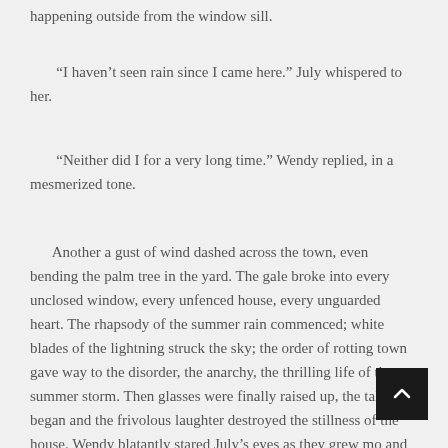happening outside from the window sill.
“I haven’t seen rain since I came here.” July whispered to her.
“Neither did I for a very long time.” Wendy replied, in a mesmerized tone.
Another a gust of wind dashed across the town, even bending the palm tree in the yard. The gale broke into every unclosed window, every unfenced house, every unguarded heart. The rhapsody of the summer rain commenced; white blades of the lightning struck the sky; the order of rotting town gave way to the disorder, the anarchy, the thrilling life of the summer storm. Then glasses were finally raised up, the talk began and the frivolous laughter destroyed the stillness of the house. Wendy blatantly stared July’s eyes as they grew mo and more watery and blurry due to the drinks. Their exhilarating taste was novel to her, too hot too spicy. As she